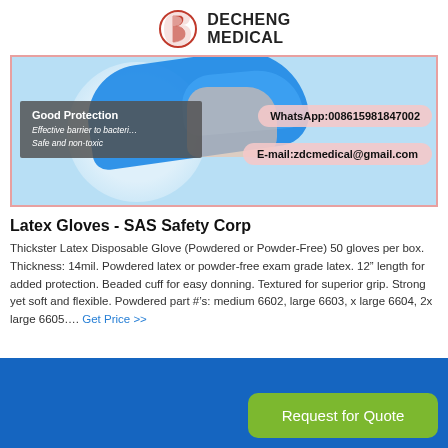[Figure (logo): Decheng Medical logo with red stylized DB icon and bold text DECHENG MEDICAL]
[Figure (photo): Product image showing blue latex glove on hand with light blue background circle, overlaid with gray info box saying Good Protection / Effective barrier to bacter... / Safe and non-toxic, and pink rounded contact boxes showing WhatsApp:008615981847002 and E-mail:zdcmedical@gmail.com]
Latex Gloves - SAS Safety Corp
Thickster Latex Disposable Glove (Powdered or Powder-Free) 50 gloves per box. Thickness: 14mil. Powdered latex or powder-free exam grade latex. 12” length for added protection. Beaded cuff for easy donning. Textured for superior grip. Strong yet soft and flexible. Powdered part #’s: medium 6602, large 6603, x large 6604, 2x large 6605…. Get Price >>
[Figure (other): Blue bottom banner bar with green rounded Request for Quote button]